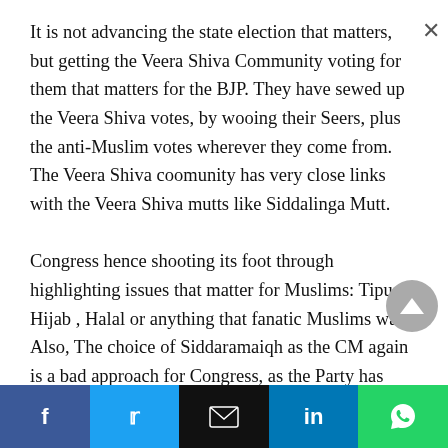It is not advancing the state election that matters, but getting the Veera Shiva Community voting for them that matters for the BJP. They have sewed up the Veera Shiva votes, by wooing their Seers, plus the anti-Muslim votes wherever they come from. The Veera Shiva coomunity has very close links with the Veera Shiva mutts like Siddalinga Mutt. Congress hence shooting its foot through highlighting issues that matter for Muslims: Tipu, Hijab , Halal or anything that fanatic Muslims want. Also, The choice of Siddaramaiqh as the CM again is a bad approach for Congress, as the Party has failed to identify a strong Veera Shiva as its choice for the CM.